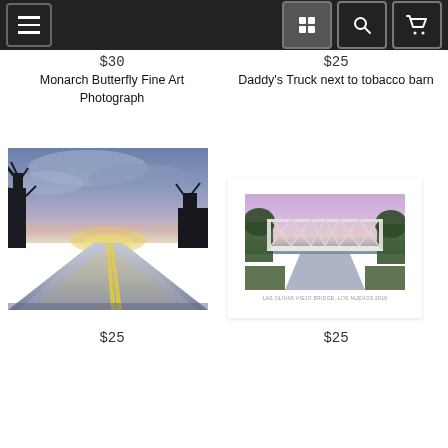Navigation bar with menu, grid, search, and cart icons
$30
$25
Monarch Butterfly Fine Art Photograph
Daddy's Truck next to tobacco barn
[Figure (photo): Painting of a wet road at sunset with bare trees silhouetted against dramatic blue and purple clouds, yellow centerline reflecting on the wet road surface]
[Figure (photo): Photograph of a white metal truss bridge over a road at dusk with purple and pink sky, surrounded by green trees, white mat border]
$25
$25